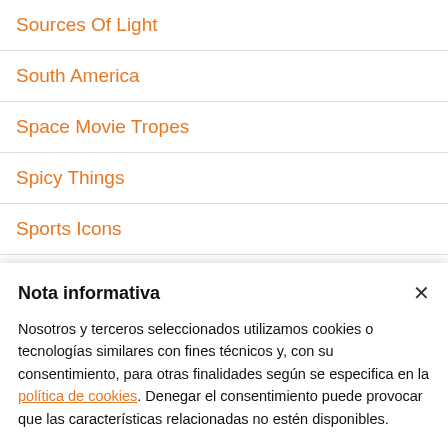Sources Of Light
South America
Space Movie Tropes
Spicy Things
Sports Icons
Sports Stars
Sports V…
Nota informativa
Nosotros y terceros seleccionados utilizamos cookies o tecnologías similares con fines técnicos y, con su consentimiento, para otras finalidades según se especifica en la política de cookies. Denegar el consentimiento puede provocar que las características relacionadas no estén disponibles.